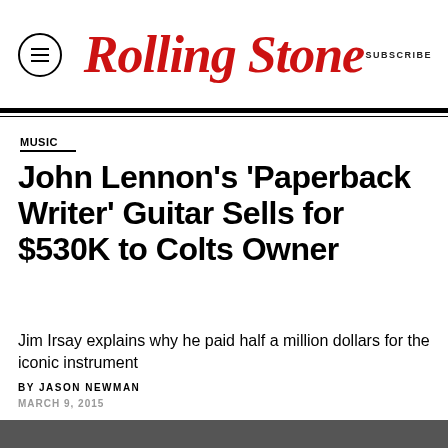Rolling Stone — SUBSCRIBE
MUSIC
John Lennon's 'Paperback Writer' Guitar Sells for $530K to Colts Owner
Jim Irsay explains why he paid half a million dollars for the iconic instrument
BY JASON NEWMAN
MARCH 9, 2015
[Figure (photo): Bottom strip photo partially visible at page bottom]